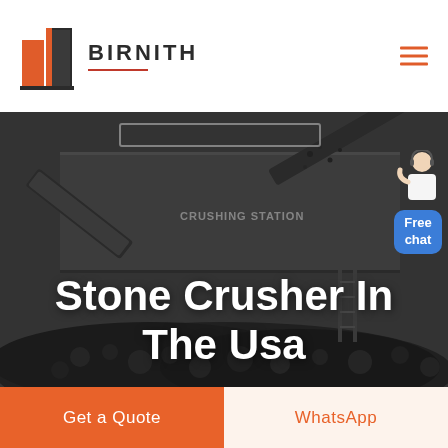BIRNITH
[Figure (photo): Industrial stone crushing station machinery with conveyor belts and large pile of crushed black stones/coal in foreground. Text 'CRUSHING STATION' visible on the machine.]
Stone Crusher In The Usa
[Figure (illustration): Customer service representative icon with 'Free chat' blue bubble widget in top right corner of hero image]
Get a Quote
WhatsApp